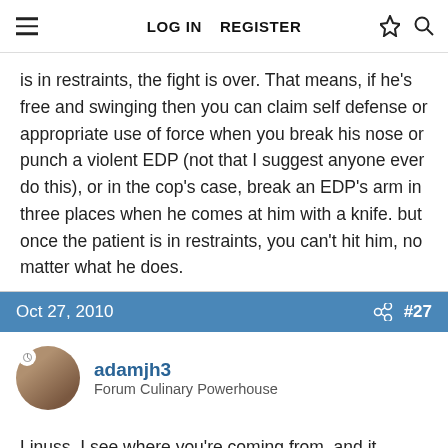LOG IN   REGISTER
is in restraints, the fight is over. That means, if he's free and swinging then you can claim self defense or appropriate use of force when you break his nose or punch a violent EDP (not that I suggest anyone ever do this), or in the cop's case, break an EDP's arm in three places when he comes at him with a knife. but once the patient is in restraints, you can't hit him, no matter what he does.
Oct 27, 2010   #27
adamjh3
Forum Culinary Powerhouse
Linuss, I see where you're coming from, and it wasn't the fact that the officer was making smart assed remarks that irked me - hell, I'm guilty of doing it at times, too, though I